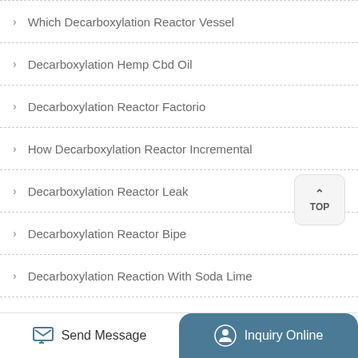Which Decarboxylation Reactor Vessel
Decarboxylation Hemp Cbd Oil
Decarboxylation Reactor Factorio
How Decarboxylation Reactor Incremental
Decarboxylation Reactor Leak
Decarboxylation Reactor Bipe
Decarboxylation Reaction With Soda Lime
Decarboxylation Reactor Outlet
Send Message | Inquiry Online